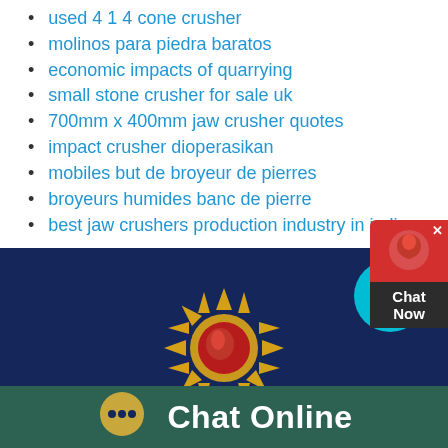used 4 1 4 cone crusher
molinos para piedra baratos
economic impacts of quarrying
small stone crusher for sale uk
700mm x 400mm jaw crusher quotes
impact crusher dioperasikan
mobiles but de broyeur de pierres
broyeurs humides banc de pierre
best jaw crushers production industry in india
[Figure (logo): Sun logo with red flame center on dark navy background]
[Figure (illustration): Chat Online button with speech bubble icon on dark teal background]